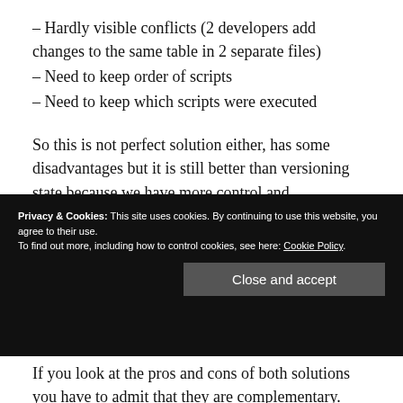– Hardly visible conflicts (2 developers add changes to the same table in 2 separate files)
– Need to keep order of scripts
– Need to keep which scripts were executed
So this is not perfect solution either, has some disadvantages but it is still better than versioning state because we have more control and possibilities. And now we are going to...
Privacy & Cookies: This site uses cookies. By continuing to use this website, you agree to their use.
To find out more, including how to control cookies, see here: Cookie Policy
If you look at the pros and cons of both solutions you have to admit that they are complementary.